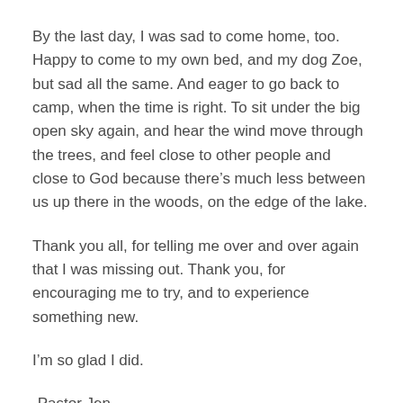By the last day, I was sad to come home, too. Happy to come to my own bed, and my dog Zoe, but sad all the same. And eager to go back to camp, when the time is right. To sit under the big open sky again, and hear the wind move through the trees, and feel close to other people and close to God because there’s much less between us up there in the woods, on the edge of the lake.
Thank you all, for telling me over and over again that I was missing out. Thank you, for encouraging me to try, and to experience something new.
I’m so glad I did.
-Pastor Jen